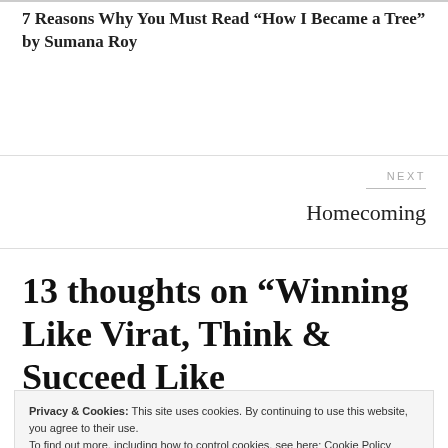7 Reasons Why You Must Read “How I Became a Tree” by Sumana Roy
NEXT
Homecoming
13 thoughts on “Winning Like Virat, Think & Succeed Like
Privacy & Cookies: This site uses cookies. By continuing to use this website, you agree to their use.
To find out more, including how to control cookies, see here: Cookie Policy
Close and accept